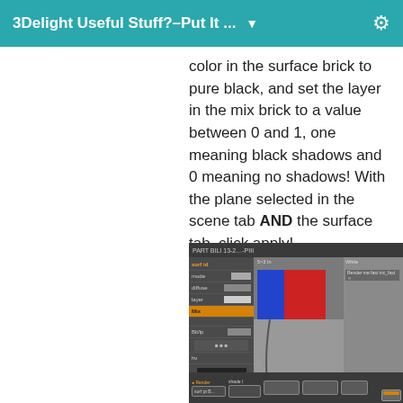3Delight Useful Stuff?–Put It ...
color in the surface brick to pure black, and set the layer in the mix brick to a value between 0 and 1, one meaning black shadows and 0 meaning no shadows! With the plane selected in the scene tab AND the surface tab, click apply!
[Figure (screenshot): Screenshot of 3Delight software interface showing a surface/material editor with left panel controls, a center preview window with red and blue geometric shapes on grey background, and a right render preview panel. Bottom shows shader node connections.]